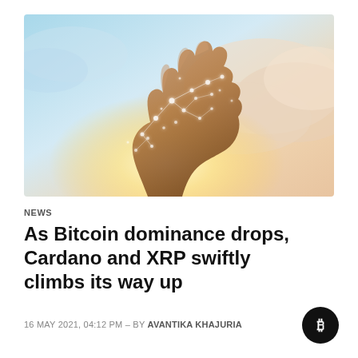[Figure (photo): A hand reaching upward with glowing network connection dots against a bright sky with warm sunlight and clouds]
NEWS
As Bitcoin dominance drops, Cardano and XRP swiftly climbs its way up
16 MAY 2021, 04:12 PM – BY AVANTIKA KHAJURIA